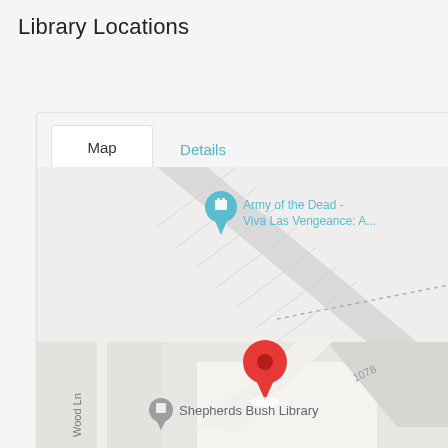Library Locations
[Figure (map): Google Maps screenshot showing Shepherds Bush Library location with a red pin marker. An 'Army of the Dead - Viva Las Vengeance: A...' label with a teal pin marker is visible in the upper portion. The map shows streets including Wood Ln. A gray map pin label reads 'Shepherds Bush Library'. A partially visible label at the bottom reads 'Young Dancers Academy'. Number '1078' appears near a building. A tab interface shows 'Map' (active white tab) and 'Details' (teal link).]